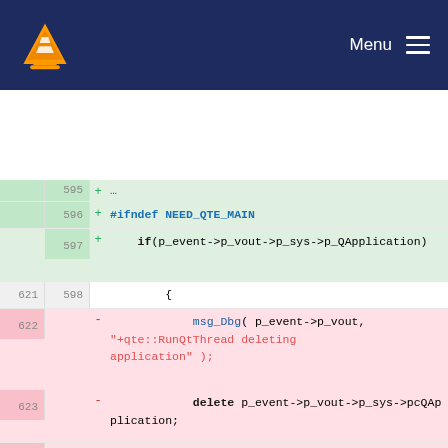VLC Menu
[Figure (screenshot): Code diff view showing lines 596-602 (new) and 621-624 (old), with added lines in green background and removed lines in pink background. Code is C++ involving p_event, p_vout, p_sys, QApplication references.]